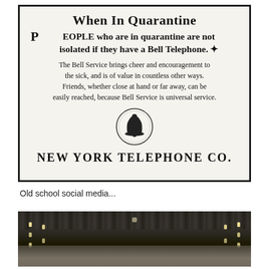[Figure (photo): Black and white historical newspaper advertisement from New York Telephone Co. with text about quarantine and Bell Telephone service, featuring a bell logo.]
Old school social media...
[Figure (photo): Black and white historical photograph of a large crowded indoor hall or auditorium with many people gathered, lights visible along the sides.]